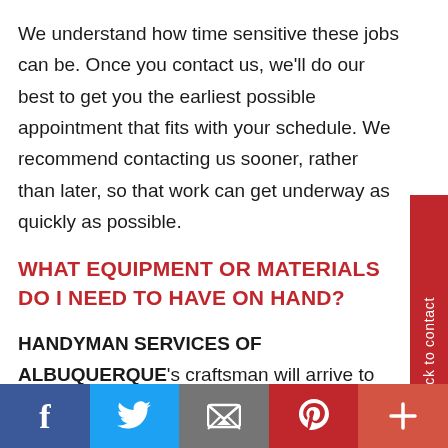We understand how time sensitive these jobs can be. Once you contact us, we'll do our best to get you the earliest possible appointment that fits with your schedule. We recommend contacting us sooner, rather than later, so that work can get underway as quickly as possible.
WHAT EQUIPMENT OR MATERIALS DO I NEED TO HAVE ON HAND?
HANDYMAN SERVICES OF ALBUQUERQUE's craftsman will arrive to your
[Figure (other): Red vertical side tab reading 'Click to contact']
Social share bar with Facebook, Twitter, Email, Pinterest, and More icons